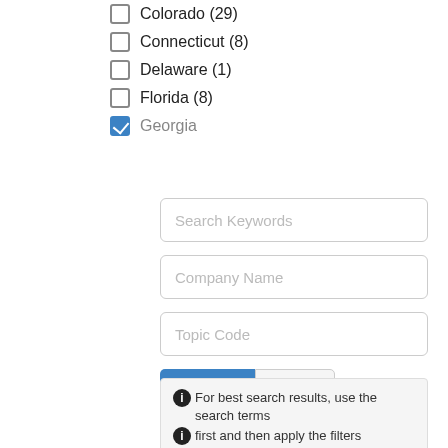Colorado (29)
Connecticut (8)
Delaware (1)
Florida (8)
Georgia [checked]
Search Keywords
Company Name
Topic Code
Search  Reset
For best search results, use the search terms first and then apply the filters
The Award database is continually updated throughout the year. As a result, data for